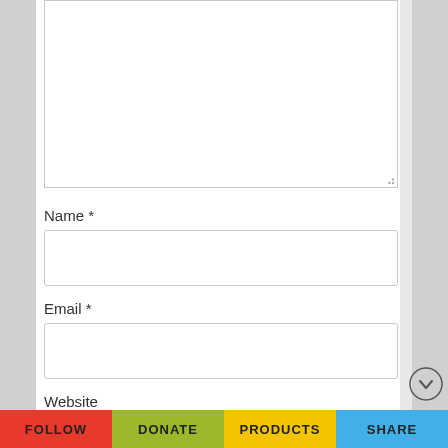[Figure (screenshot): A web form showing a large textarea at the top (partially visible, showing the resizable bottom-right corner), followed by labeled input fields for Name, Email, and Website. The form has a white background with light grey bordered input fields.]
Name *
Email *
Website
FOLLOW | DONATE | PRODUCTS | SHARE